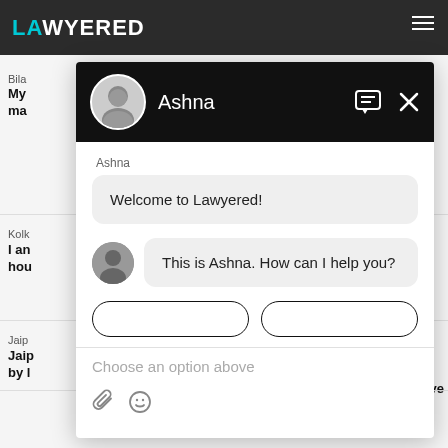[Figure (screenshot): Lawyered website chat widget screenshot showing a chat popup with agent Ashna. The chat header is black with Ashna's avatar and name. Two message bubbles are visible: 'Welcome to Lawyered!' and 'This is Ashna. How can I help you?'. Below is a text input area with placeholder 'Choose an option above' and attachment/emoji icons.]
Ashna
Welcome to Lawyered!
This is Ashna. How can I help you?
Choose an option above